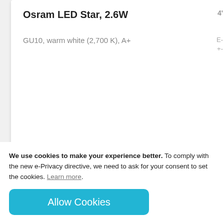Osram LED Star, 2.6W
GU10, warm white (2,700 K), A+
[Figure (illustration): Shopping cart icon (add to cart button) in light gray]
[Figure (illustration): Pagination dots row: 10 dots, first one dark/active, rest light gray]
[Figure (screenshot): Teal/cyan banner section with a semi-transparent inner bar and a darker right segment]
We use cookies to make your experience better. To comply with the new e-Privacy directive, we need to ask for your consent to set the cookies. Learn more.
Allow Cookies